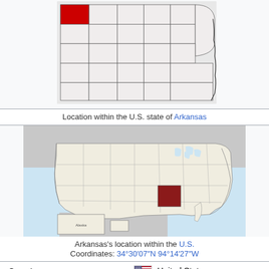[Figure (map): Map showing location of Carroll County within the U.S. state of Arkansas. The county is highlighted in red in the northwest corner of Arkansas.]
Location within the U.S. state of Arkansas
[Figure (map): Map showing Arkansas's location within the United States. Arkansas is highlighted in dark red.]
Arkansas's location within the U.S.
Coordinates: 34°30′07″N 94°14′27″W
| Country | United States |
| State | Arkansas |